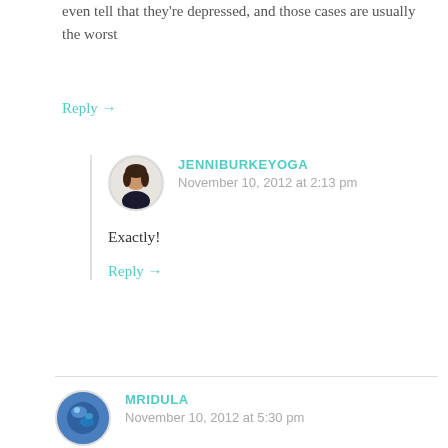even tell that they're depressed, and those cases are usually the worst ones =(
Reply →
JENNIBURKEYOGA
November 10, 2012 at 2:13 pm
Exactly!
Reply →
MRIDULA
November 10, 2012 at 5:30 pm
I think those people are able to cover up their feelings,may be able to recover faster if they are